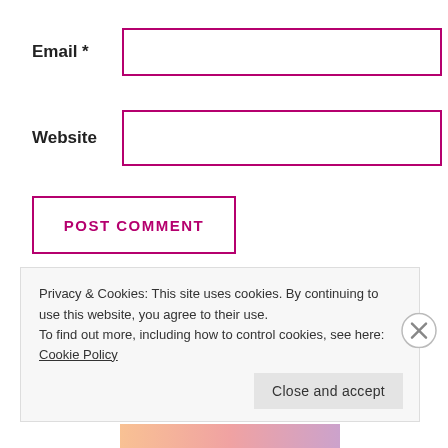Email *
[Figure (screenshot): Email input field with pink/magenta border]
Website
[Figure (screenshot): Website input field with pink/magenta border]
POST COMMENT
Notify me of new comments via email.
Notify me of new posts via email.
Privacy & Cookies: This site uses cookies. By continuing to use this website, you agree to their use.
To find out more, including how to control cookies, see here: Cookie Policy
Close and accept